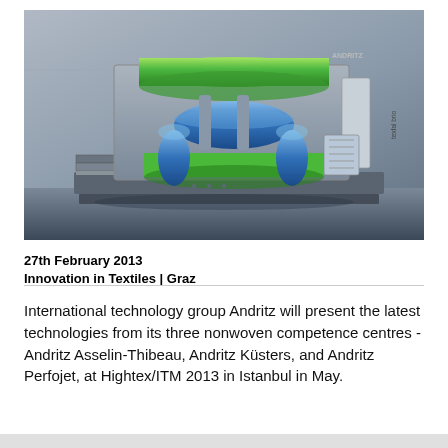[Figure (photo): Industrial textile machine (nonwoven equipment) with green fabric rolls and blue cylindrical rollers on a grey base, inside a grey industrial setting. Text 'texfal brio' visible on the side panel.]
27th February 2013
Innovation in Textiles | Graz
International technology group Andritz will present the latest technologies from its three nonwoven competence centres - Andritz Asselin-Thibeau, Andritz Küsters, and Andritz Perfojet, at Hightex/ITM 2013 in Istanbul in May.